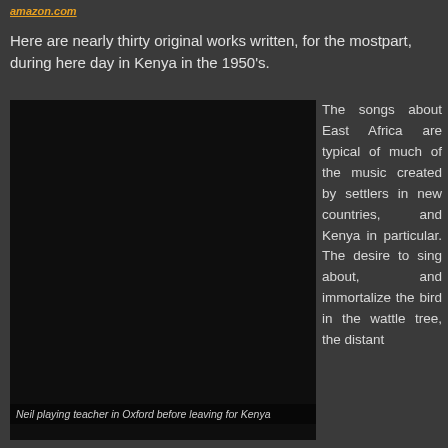amazon.com
Here are nearly thirty original works written, for the mostpart, during here day in Kenya in the 1950's.
[Figure (photo): Dark/black photo of Neil playing teacher in Oxford before leaving for Kenya]
Neil playing teacher in Oxford before leaving for Kenya
The songs about East Africa are typical of much of the music created by settlers in new countries, and Kenya in particular. The desire to sing about, and immortalize the bird in the wattle tree, the distant